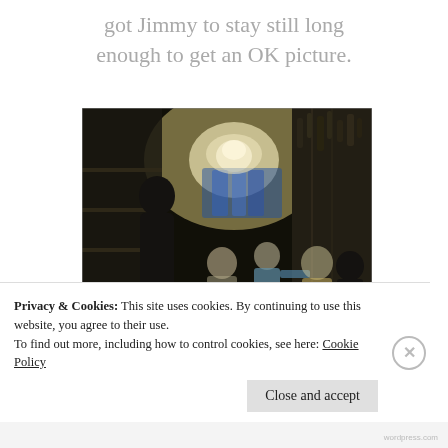got Jimmy to stay still long enough to get an OK picture.
[Figure (photo): Dark indoor scene, possibly a garage or cluttered room with people standing, halloween pumpkins on the floor, bright light source in the center background, items hanging on walls.]
Privacy & Cookies: This site uses cookies. By continuing to use this website, you agree to their use. To find out more, including how to control cookies, see here: Cookie Policy
Close and accept